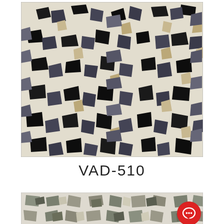[Figure (photo): Close-up photo of terrazzo flooring sample VAD-510 showing irregular black, dark grey, and beige stone chips embedded in a light cream/white matrix]
VAD-510
[Figure (photo): Partial view of another terrazzo flooring sample showing grey/green stone chips in a light matrix, with a red chat icon button overlaid in the bottom-right corner]